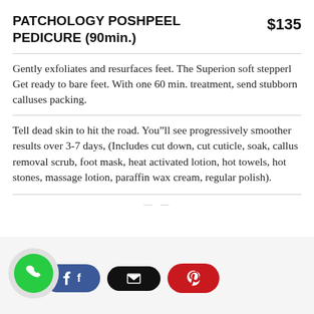PATCHOLOGY POSHPEEL PEDICURE (90min.) $135
Gently exfoliates and resurfaces feet. The Superion soft stepperl
Get ready to bare feet. With one 60 min. treatment, send stubborn calluses packing.
Tell dead skin to hit the road. You”ll see progressively smoother results over 3-7 days, (Includes cut down, cut cuticle, soak, callus removal scrub, foot mask, heat activated lotion, hot towels, hot stones, massage lotion, paraffin wax cream, regular polish).
[Figure (infographic): Social sharing buttons bar at the bottom: a phone icon in a green circle, a blue Facebook button with 'f', a black email button with envelope icon, and a red Pinterest button with 'p' icon.]